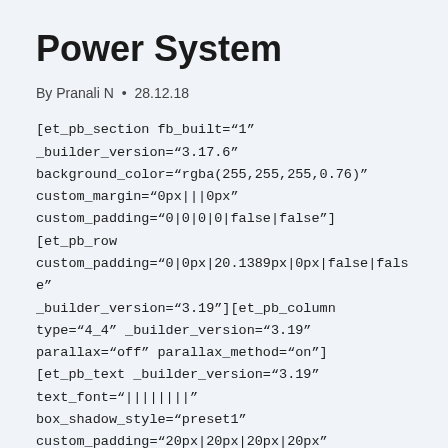Power System
By Pranali N • 28.12.18
[et_pb_section fb_built="1" _builder_version="3.17.6" background_color="rgba(255,255,255,0.76)" custom_margin="0px|||0px" custom_padding="0|0|0|0|false|false"] [et_pb_row custom_padding="0|0px|20.1389px|0px|false|false" _builder_version="3.19"][et_pb_column type="4_4" _builder_version="3.19" parallax="off" parallax_method="on"] [et_pb_text _builder_version="3.19" text_font="||||||||" box_shadow_style="preset1" custom_padding="20px|20px|20px|20px"